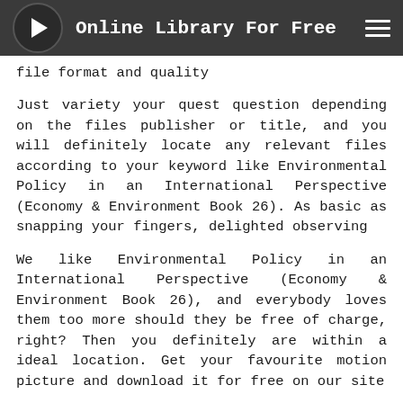Online Library For Free
file format and quality
Just variety your quest question depending on the files publisher or title, and you will definitely locate any relevant files according to your keyword like Environmental Policy in an International Perspective (Economy & Environment Book 26). As basic as snapping your fingers, delighted observing
We like Environmental Policy in an International Perspective (Economy & Environment Book 26), and everybody loves them too more should they be free of charge, right? Then you definitely are within a ideal location. Get your favourite motion picture and download it for free on our site